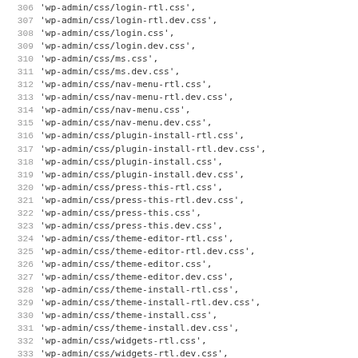Code listing lines 306-338 showing WordPress admin CSS and include file paths
306 'wp-admin/css/login-rtl.css',
307 'wp-admin/css/login-rtl.dev.css',
308 'wp-admin/css/login.css',
309 'wp-admin/css/login.dev.css',
310 'wp-admin/css/ms.css',
311 'wp-admin/css/ms.dev.css',
312 'wp-admin/css/nav-menu-rtl.css',
313 'wp-admin/css/nav-menu-rtl.dev.css',
314 'wp-admin/css/nav-menu.css',
315 'wp-admin/css/nav-menu.dev.css',
316 'wp-admin/css/plugin-install-rtl.css',
317 'wp-admin/css/plugin-install-rtl.dev.css',
318 'wp-admin/css/plugin-install.css',
319 'wp-admin/css/plugin-install.dev.css',
320 'wp-admin/css/press-this-rtl.css',
321 'wp-admin/css/press-this-rtl.dev.css',
322 'wp-admin/css/press-this.css',
323 'wp-admin/css/press-this.dev.css',
324 'wp-admin/css/theme-editor-rtl.css',
325 'wp-admin/css/theme-editor-rtl.dev.css',
326 'wp-admin/css/theme-editor.css',
327 'wp-admin/css/theme-editor.dev.css',
328 'wp-admin/css/theme-install-rtl.css',
329 'wp-admin/css/theme-install-rtl.dev.css',
330 'wp-admin/css/theme-install.css',
331 'wp-admin/css/theme-install.dev.css',
332 'wp-admin/css/widgets-rtl.css',
333 'wp-admin/css/widgets-rtl.dev.css',
334 'wp-admin/css/widgets.css',
335 'wp-admin/css/widgets.dev.css',
336 'wp-admin/includes/internal-linking.php',
337 'wp-includes/images/admin-bar-sprite-rtl.png',
338 'wp-includes/js/jquery/ui.button.js',